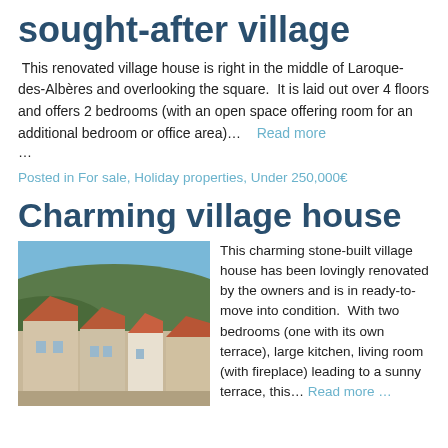sought-after village
This renovated village house is right in the middle of Laroque-des-Albères and overlooking the square.  It is laid out over 4 floors and offers 2 bedrooms (with an open space offering room for an additional bedroom or office area)…   Read more …
Posted in For sale, Holiday properties, Under 250,000€
Charming village house
[Figure (photo): Photo of a village with terracotta roof tiles and a hillside in the background under a blue sky.]
This charming stone-built village house has been lovingly renovated by the owners and is in ready-to-move into condition.  With two bedrooms (one with its own terrace), large kitchen, living room (with fireplace) leading to a sunny terrace, this…  Read more …